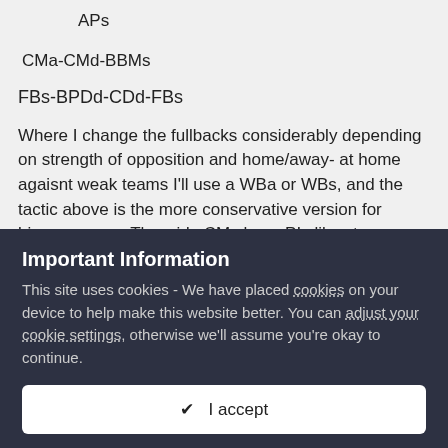APs
CMa-CMd-BBMs
FBs-BPDd-CDd-FBs
Where I change the fullbacks considerably depending on strength of opposition and home/away- at home agaisnt weak teams I'll use a WBa or WBs, and the tactic above is the more conservative version for bigger games. The wide CMs have PIs like stay wider/run wide with ball. Using FBs on a positive or attacking mentality means that whilst they'll usually be a wide supporting option from deep (forming a 2332 attacking shape) they will also make well timed runs to the byline for a cutback, or inside as well to play the final pass. I find this generates good variety in attack, rather than the more predictable
Important Information
This site uses cookies - We have placed cookies on your device to help make this website better. You can adjust your cookie settings, otherwise we'll assume you're okay to continue.
✔  I accept